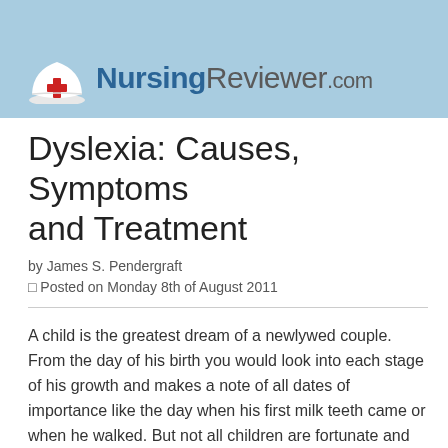[Figure (logo): NursingReviewer.com logo with nurse hat icon containing a red cross, on a light blue banner background]
Dyslexia: Causes, Symptoms and Treatment
by James S. Pendergraft
◻ Posted on Monday 8th of August 2011
A child is the greatest dream of a newlywed couple. From the day of his birth you would look into each stage of his growth and makes a note of all dates of importance like the day when his first milk teeth came or when he walked. But not all children are fortunate and some may grow with many disabilities. Dyslexia is a type of learning disability. A child affected with